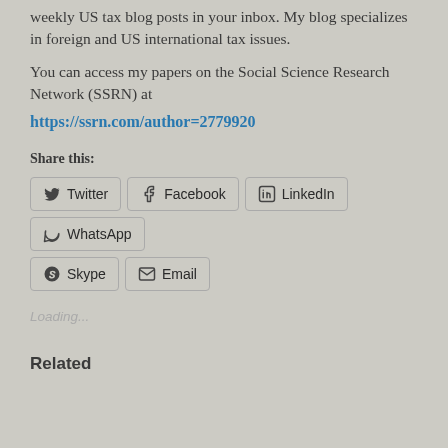weekly US tax blog posts in your inbox. My blog specializes in foreign and US international tax issues.
You can access my papers on the Social Science Research Network (SSRN) at https://ssrn.com/author=2779920
Share this:
Twitter Facebook LinkedIn WhatsApp Skype Email
Loading...
Related